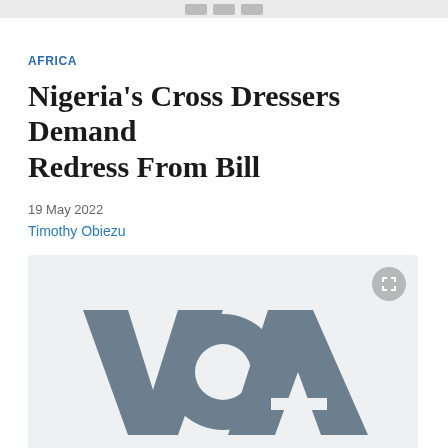AFRICA
Nigeria's Cross Dressers Demand Redress From Bill
19 May 2022
Timothy Obiezu
[Figure (logo): VOA (Voice of America) logo on a light gray background with an expand/fullscreen button in the top right corner]